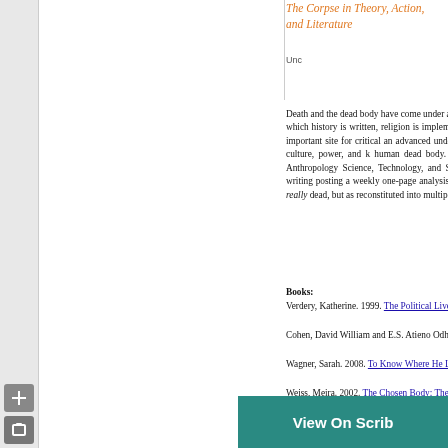The Corpse in Theory, Action, and Literature
Unc
Death and the dead body have come under an en transforming society, science, and politics as we k the way in which history is written, religion is implemented, politics are performed, and life comes the dead body is an important site for critical an advanced undergraduate seminar draws upon cur social theory to examine how culture, power, and k human dead body. We will be examining fe indigenous developments in Medical Anthropology Science, Technology, and Society Studies. In addi group-led discussions, students will be writing posting a weekly one-page analysis and critique o objective in this multidisciplinary seminar is to ap really dead, but as reconstituted into multip representations and spatiotemporal forms.
Books:
Verdery, Katherine. 1999. The Political Lives of Bodies: Reburial and Postsocialist Change. New York: Columbia University

Cohen, David William and E.S. Atieno Odhiambo. 19 of Knowledge and the Sociology of Power in Africa.

Wagner, Sarah. 2008. To Know Where He Lies: DNA Technology and the Search for Srebrenica's Missing. Berkeley: University Califor

Weiss, Meira. 2002. The Chosen Body: The Polit Stanford University Press.